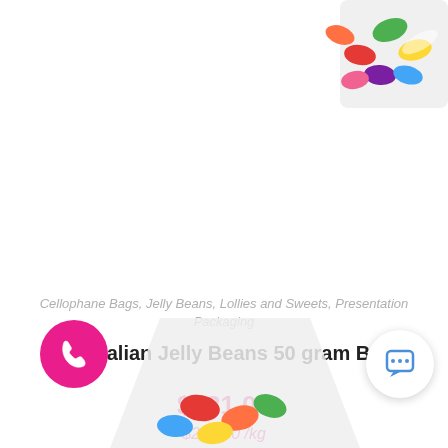[Figure (photo): Cellophane bag filled with colorful jelly beans, partially cropped at top of page]
Cellophane Bags, Jelly Beans, Lollies and Sweets, Presentation Packaging
Australian Jelly Beans 50 gram Bag
$231.00
$231.00 /kg
[Figure (photo): Partial view of another cellophane bag with jelly beans visible at bottom of page, along with a pink phone call button and a white chat bubble button]